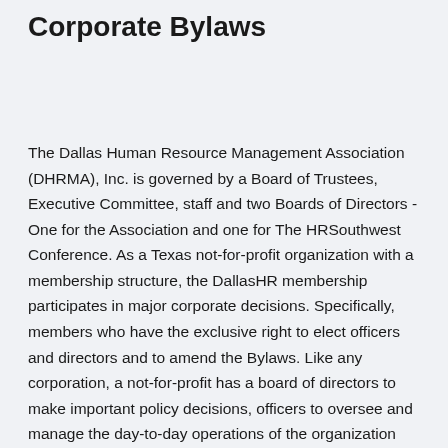Corporate Bylaws
The Dallas Human Resource Management Association (DHRMA), Inc. is governed by a Board of Trustees, Executive Committee, staff and two Boards of Directors - One for the Association and one for The HRSouthwest Conference. As a Texas not-for-profit organization with a membership structure, the DallasHR membership participates in major corporate decisions. Specifically, members who have the exclusive right to elect officers and directors and to amend the Bylaws. Like any corporation, a not-for-profit has a board of directors to make important policy decisions, officers to oversee and manage the day-to-day operations of the organization and employees to do the work. The Board of Trustees is responsible for the overall viability of the organization and the oversight of the corporate business affairs of DHRMA, Inc. This Board focuses on